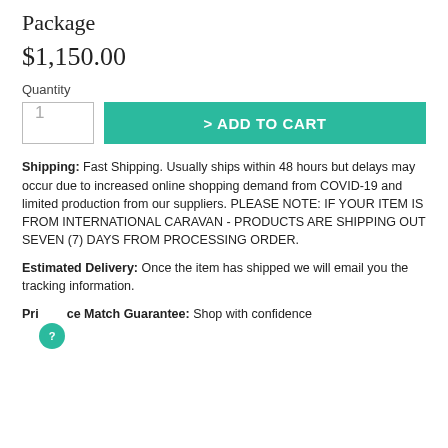Package
$1,150.00
Quantity
> ADD TO CART
Shipping: Fast Shipping. Usually ships within 48 hours but delays may occur due to increased online shopping demand from COVID-19 and limited production from our suppliers. PLEASE NOTE: IF YOUR ITEM IS FROM INTERNATIONAL CARAVAN - PRODUCTS ARE SHIPPING OUT SEVEN (7) DAYS FROM PROCESSING ORDER.
Estimated Delivery: Once the item has shipped we will email you the tracking information.
Price Match Guarantee: Shop with confidence